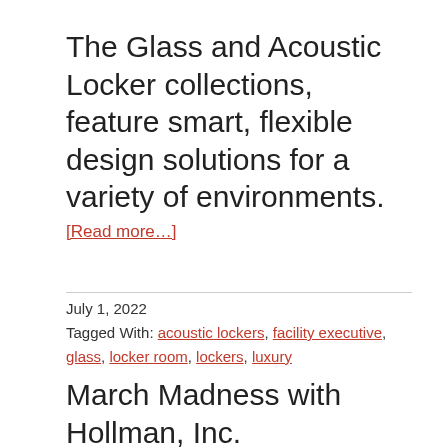The Glass and Acoustic Locker collections, feature smart, flexible design solutions for a variety of environments.
[Read more…]
July 1, 2022
Tagged With: acoustic lockers, facility executive, glass, locker room, lockers, luxury
March Madness with Hollman, Inc.